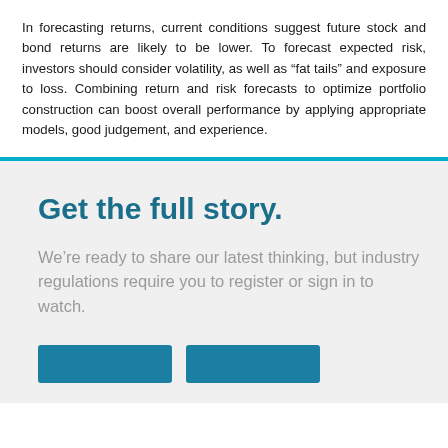In forecasting returns, current conditions suggest future stock and bond returns are likely to be lower. To forecast expected risk, investors should consider volatility, as well as “fat tails” and exposure to loss. Combining return and risk forecasts to optimize portfolio construction can boost overall performance by applying appropriate models, good judgement, and experience.
Get the full story.
We’re ready to share our latest thinking, but industry regulations require you to register or sign in to watch.